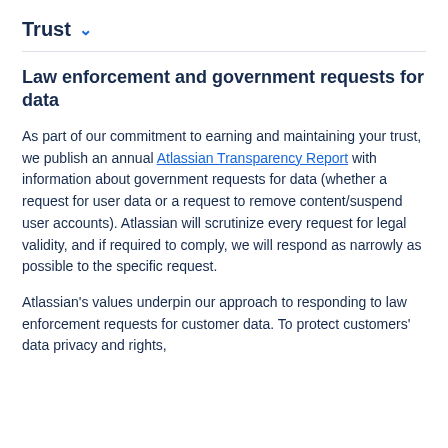Trust ▾
Law enforcement and government requests for data
As part of our commitment to earning and maintaining your trust, we publish an annual Atlassian Transparency Report with information about government requests for data (whether a request for user data or a request to remove content/suspend user accounts). Atlassian will scrutinize every request for legal validity, and if required to comply, we will respond as narrowly as possible to the specific request.
Atlassian's values underpin our approach to responding to law enforcement requests for customer data. To protect customers' data privacy and rights,